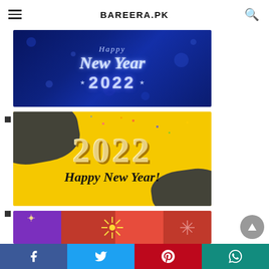BAREERA.PK
[Figure (photo): Happy New Year 2022 greeting image on dark blue starry background with silver glitter text]
[Figure (photo): Happy New Year 2022 greeting image on yellow background with balloon-style gold 2022 numbers and dark brush strokes]
[Figure (photo): Partially visible Happy New Year image with fireworks on purple and red background]
Social share buttons: Facebook, Twitter, Pinterest, WhatsApp